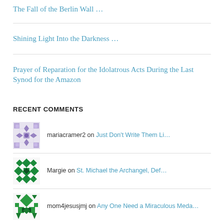The Fall of the Berlin Wall …
Shining Light Into the Darkness …
Prayer of Reparation for the Idolatrous Acts During the Last Synod for the Amazon
RECENT COMMENTS
mariacramer2 on Just Don't Write Them Li…
Margie on St. Michael the Archangel, Def…
mom4jesusjmj on Any One Need a Miraculous Meda…